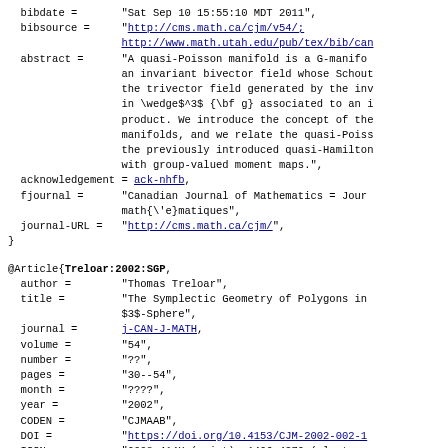bibdate = "Sat Sep 10 15:55:10 MDT 2011",
  bibsource = "http://cms.math.ca/cjm/v54/; http://www.math.utah.edu/pub/tex/bib/can
  abstract = "A quasi-Poisson manifold is a G-manifol an invariant bivector field whose Schout the trivector field generated by the inv in \wedge$^3$ {\bf g} associated to an i product. We introduce the concept of the manifolds, and we relate the quasi-Poiss the previously introduced quasi-Hamilton with group-valued moment maps.",
  acknowledgement = ack-nhfb,
  fjournal = "Canadian Journal of Mathematics = Jour math{\'e}matiques",
  journal-URL = "http://cms.math.ca/cjm/",
@Article{Treloar:2002:SGP,
  author = "Thomas Treloar",
  title = "The Symplectic Geometry of Polygons in $3$-Sphere",
  journal = j-CAN-J-MATH,
  volume = "54",
  number = "??",
  pages = "30--54",
  month = "????",
  year = "2002",
  CODEN = "CJMAAB",
  DOI = "https://doi.org/10.4153/CJM-2002-002-1",
  ISSN = "0008-414X (print), 1496-4279 (electron",
  ISSN-L = "0008-414X",